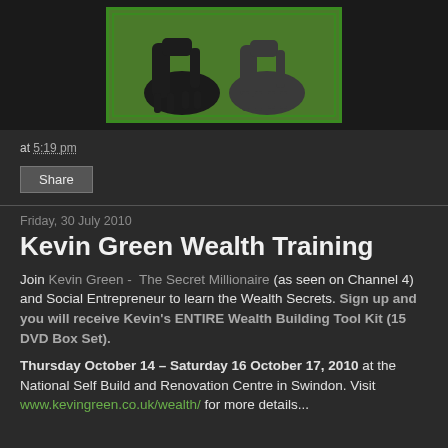[Figure (photo): Partial image of horses on green grass with a green border frame, dark background, cropped at top]
at 5:19 pm
Share
Friday, 30 July 2010
Kevin Green Wealth Training
Join Kevin Green -  The Secret Millionaire (as seen on Channel 4) and Social Entrepreneur to learn the Wealth Secrets. Sign up and you will receive Kevin's ENTIRE Wealth Building Tool Kit (15 DVD Box Set).
Thursday October 14 – Saturday 16 October 17, 2010 at the National Self Build and Renovation Centre in Swindon. Visit www.kevingreen.co.uk/wealth/ for more details...